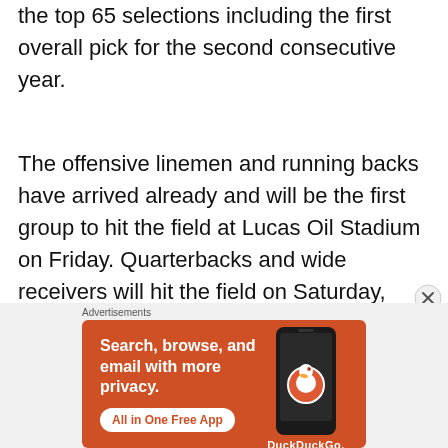the top 65 selections including the first overall pick for the second consecutive year.
The offensive linemen and running backs have arrived already and will be the first group to hit the field at Lucas Oil Stadium on Friday. Quarterbacks and wide receivers will hit the field on Saturday, defensive linemen and linebackers on Sunday and the defensive backs will hit the field on...
Advertisements
[Figure (other): DuckDuckGo advertisement banner with orange background showing 'Search, browse, and email with more privacy. All in One Free App' with a phone graphic and DuckDuckGo logo.]